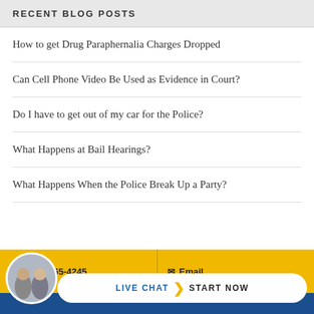RECENT BLOG POSTS
How to get Drug Paraphernalia Charges Dropped
Can Cell Phone Video Be Used as Evidence in Court?
Do I have to get out of my car for the Police?
What Happens at Bail Hearings?
What Happens When the Police Break Up a Party?
(419) 365-4245  Email  LIVE CHAT START NOW